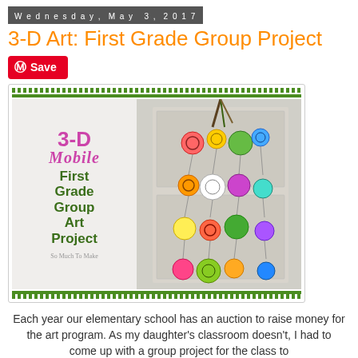Wednesday, May 3, 2017
3-D Art: First Grade Group Project
[Figure (photo): A 3-D mobile art project made of colorful circles hanging from a structure, displayed against a white door. The left side of the image has text reading '3-D Mobile First Grade Group Art Project' by So Much To Make.]
Each year our elementary school has an auction to raise money for the art program. As my daughter's classroom doesn't, I had to come up with a group project for the class to